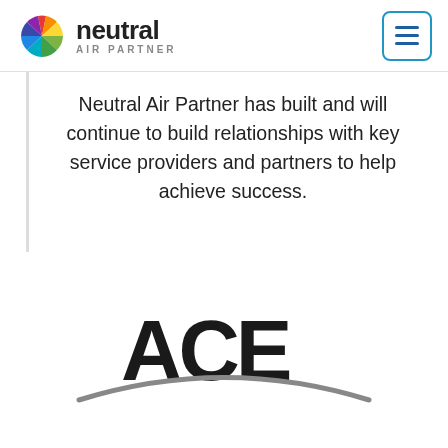neutral AIR PARTNER
Neutral Air Partner has built and will continue to build relationships with key service providers and partners to help achieve success.
[Figure (logo): ACE logo in large bold black text with a grey arc swoosh underneath]